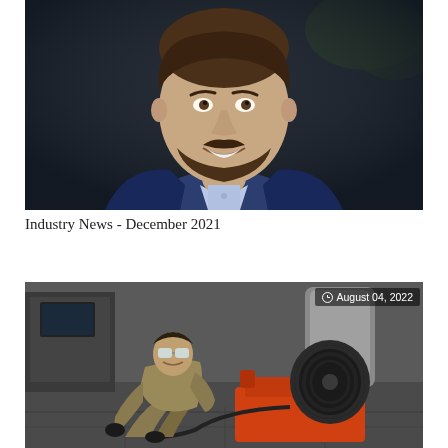[Figure (photo): Professional headshot of a smiling bearded man in a navy blue blazer and light blue collared shirt, against a dark background with green foliage]
Industry News - December 2021
[Figure (photo): A technician wearing safety goggles and black gloves crouching on the floor, working with a cable reel/drain cleaning machine with an orange base, in an industrial setting with stainless steel equipment. Date badge reads: August 04, 2022]